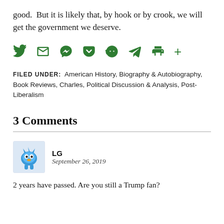good.  But it is likely that, by hook or by crook, we will get the government we deserve.
[Figure (infographic): Row of green social share icons: Twitter bird, envelope/email, Messenger, Pocket, Reddit alien, Telegram paper plane, printer, plus sign]
FILED UNDER:  American History, Biography & Autobiography, Book Reviews, Charles, Political Discussion & Analysis, Post-Liberalism
3 Comments
LG
September 26, 2019
2 years have passed. Are you still a Trump fan?